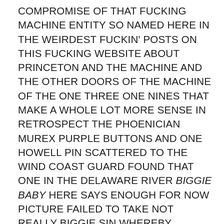COMPROMISE OF THAT FUCKING MACHINE ENTITY SO NAMED HERE IN THE WEIRDEST FUCKIN' POSTS ON THIS FUCKING WEBSITE ABOUT PRINCETON AND THE MACHINE AND THE OTHER DOORS OF THE MACHINE OF THE ONE THREE ONE NINES THAT MAKE A WHOLE LOT MORE SENSE IN RETROSPECT THE PHOENICIAN MUREX PURPLE BUTTONS AND ONE HOWELL PIN SCATTERED TO THE WIND COAST GUARD FOUND THAT ONE IN THE DELAWARE RIVER BIGGIE BABY HERE SAYS ENOUGH FOR NOW PICTURE FAILED TO TAKE NOT REALLY BIGGIE SIN WHEREBY INCOMING QUIET DOWN NOW, MOVING ALONG, OUTGOING OFFICIALS INCLUDING THE PRESIDENT HIMSELF ARE THREATENED WITH CAPRICIOUS PROSECUTION FOR ALLEGED CRIMES THAT PROSECUTION REFUSES TO SHARE WITH BOTH THE ACCUSED AND THE TRIAL COURT IN GROTESQUE MOCKERY OF THE SIXTH AMENDMENT RIGHT TO COUNSEL, SPEEDY TRIAL AND KNOWLEDGE OF WHAT BEEN ACCUSED OF FOR FUCKS SAKE, NEW JERSEY AND